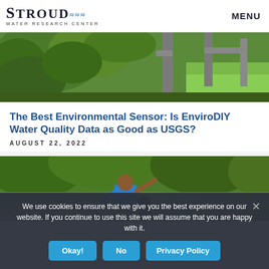Stroud Water Research Center | MENU
[Figure (photo): Outdoor photo showing green vegetation and gray metal pipe/post structures, possibly part of a water monitoring station setup with grass visible.]
The Best Environmental Sensor: Is EnviroDIY Water Quality Data as Good as USGS?
AUGUST 22, 2022
[Figure (photo): Photo of a person in a blue t-shirt standing at a stream/river edge, surrounded by green trees, with arm raised pointing, and another person nearby.]
We use cookies to ensure that we give you the best experience on our website. If you continue to use this site we will assume that you are happy with it.
Okay!
No
Privacy Policy